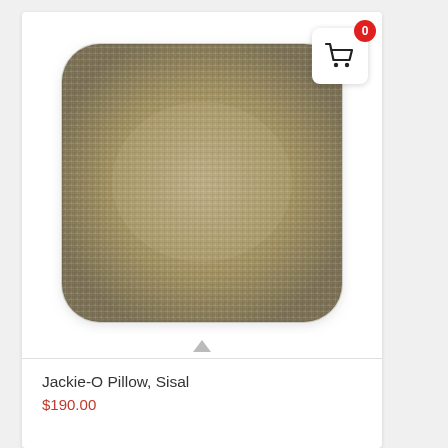[Figure (photo): A square decorative pillow with woven sisal/burlap texture in tan/khaki tones, with rounded corners, displayed on a white card background.]
Jackie-O Pillow, Sisal
$190.00